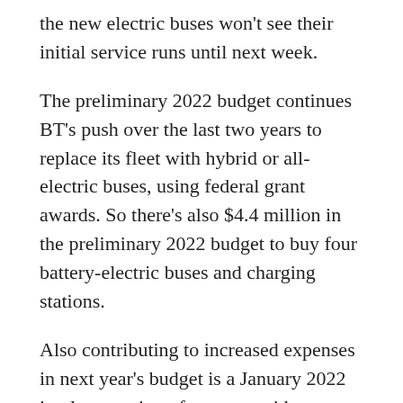the new electric buses won't see their initial service runs until next week.
The preliminary 2022 budget continues BT's push over the last two years to replace its fleet with hybrid or all-electric buses, using federal grant awards. So there's also $4.4 million in the preliminary 2022 budget to buy four battery-electric buses and charging stations.
Also contributing to increased expenses in next year's budget is a January 2022 implementation of a systemwide new package of routes from a previously completed optimization study. The implementation of the optimized routes was planned for rollout in fall 2020, but was delayed